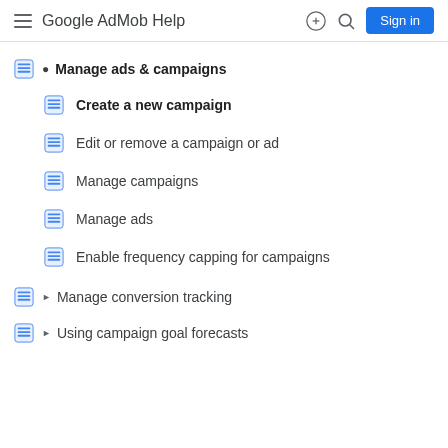Google AdMob Help
Manage ads & campaigns
Create a new campaign
Edit or remove a campaign or ad
Manage campaigns
Manage ads
Enable frequency capping for campaigns
Manage conversion tracking
Using campaign goal forecasts